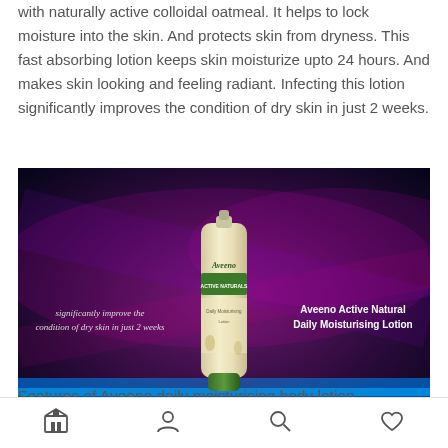with naturally active colloidal oatmeal. It helps to lock moisture into the skin. And protects skin from dryness. This fast absorbing lotion keeps skin moisturize upto 24 hours. And makes skin looking and feeling radiant. Infecting this lotion significantly improves the condition of dry skin in just 2 weeks.
[Figure (photo): Advertisement image of Aveeno Active Natural Daily Moisturising Lotion on a dark blue/purple background. Text on left reads 'significantly improve the condition of dry skin in just 2 weeks'. Text on right reads 'Aveeno Active Natural Daily Moisturising Lotion'.]
Features of Aveeno daily moisturising body lotion